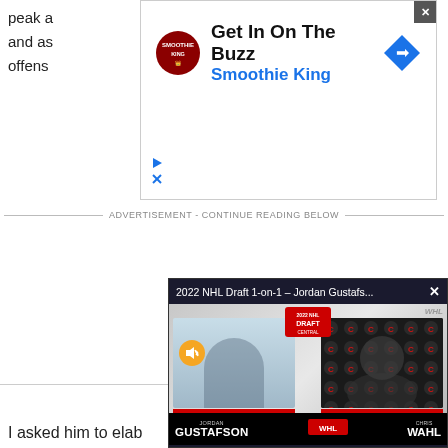peak a
and as
offens
[Figure (screenshot): Advertisement banner for Smoothie King with 'Get In On The Buzz' headline and blue navigation arrow icon]
ADVERTISEMENT - CONTINUE READING BELOW
[Figure (screenshot): Video overlay player showing '2022 NHL Draft 1-on-1 – Jordan Gustafs...' with Jordan Gustafson on left and Chris Wahl on right, WHL Draft logo at top]
I asked him to elab